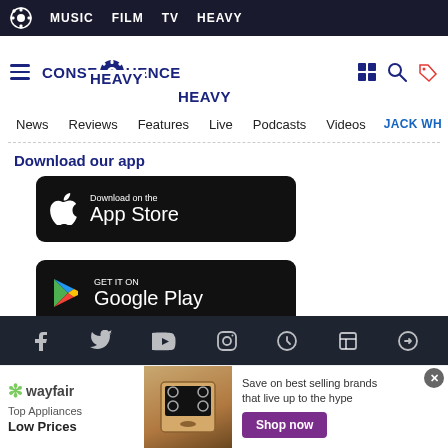MUSIC  FILM  TV  HEAVY
[Figure (logo): Consequence Heavy logo with gear icon and text CONSEQUENCE HEAVY]
News  Reviews  Features  Live  Podcasts  Videos  JACK WH
Download our app
[Figure (screenshot): Download on the App Store button (black rounded rectangle with Apple logo)]
[Figure (screenshot): Get it on Google Play button (black rounded rectangle with Play logo)]
Social media icons row: Facebook, Twitter, YouTube, Instagram, and others
[Figure (infographic): Wayfair advertisement banner: Top Appliances Low Prices, Save on best selling brands that live up to the hype, Shop now button]